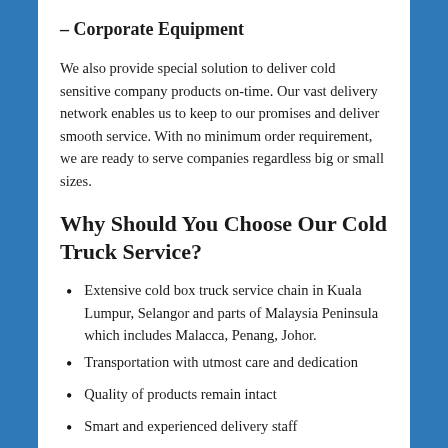– Corporate Equipment
We also provide special solution to deliver cold sensitive company products on-time. Our vast delivery network enables us to keep to our promises and deliver smooth service. With no minimum order requirement, we are ready to serve companies regardless big or small sizes.
Why Should You Choose Our Cold Truck Service?
Extensive cold box truck service chain in Kuala Lumpur, Selangor and parts of Malaysia Peninsula which includes Malacca, Penang, Johor.
Transportation with utmost care and dedication
Quality of products remain intact
Smart and experienced delivery staff
Perfect temperature control setup for your...